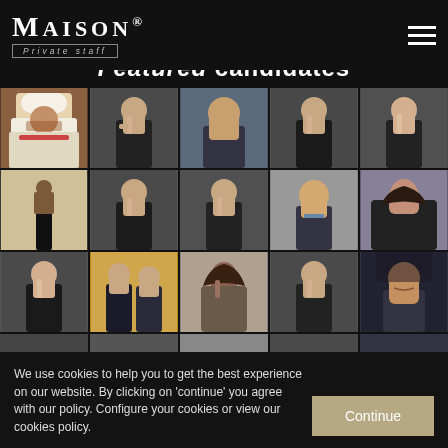MAISON® Private staff
Featured candidates
[Figure (photo): 3x3 grid of candidate photos including chefs and butlers in formal attire, many with finger-to-lips confidentiality pose, plus a couple portrait, a woman, and a smiling older man]
We use cookies to help you to get the best experience on our website. By clicking on 'continue' you agree with our policy. Configure your cookies or view our cookies policy.